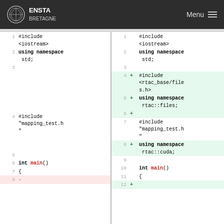ENSTA BRETAGNE — Menu
[Figure (screenshot): Code diff view showing two panels side by side. Left panel shows original C++ code with line numbers 1-8. Right panel shows modified code with line numbers 1-12, with added lines (4,5,6,8) highlighted in green showing #include <rtac_base/files.h>, using namespace rtac::files, and using namespace rtac::cuda. Last row partially visible showing line 8 removed (left) and line 12 added (right).]